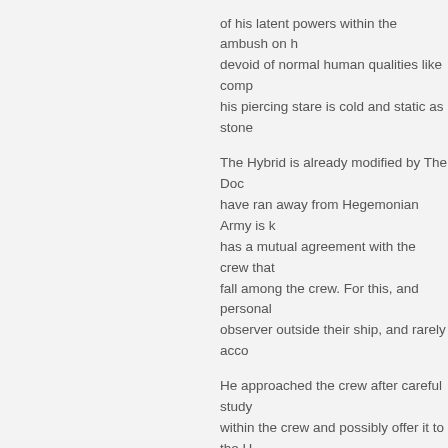of his latent powers within the ambush on h devoid of normal human qualities like comp his piercing stare is cold and static as stone
The Hybrid is already modified by The Doc have ran away from Hegemonian Army is k has a mutual agreement with the crew that fall among the crew. For this, and personal observer outside their ship, and rarely acco
He approached the crew after careful study within the crew and possibly offer it to the H only life he ever knew, and the only life he c never speak of it and will forever wish that t
This contradicts him deeply, and when the t to keep distance from the crew, to keep ther
For all of the crew, he is starting to develop
he is the only person he cares about outside and The Priest regarding their past, resultin Businessman has a similar motive to be in t subject. Even he does not like The Doctor, k but yet unknown way.